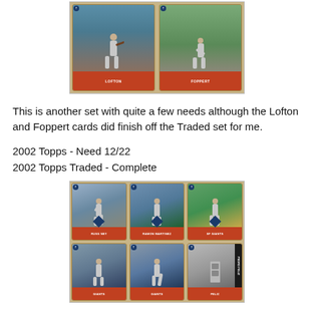[Figure (photo): Two 2002 Topps Traded baseball cards side by side showing baseball players, with gold/tan bordered card design and red name banners at bottom showing player names]
This is another set with quite a few needs although the Lofton and Foppert cards did finish off the Traded set for me.
2002 Topps - Need 12/22
2002 Topps Traded - Complete
[Figure (photo): Six 2002 Topps baseball cards arranged in a 3x2 grid showing San Francisco Giants players, with blue diamond logo accent, red name banners reading RUSS NEY, RAMON MARTINEZ, and other names]